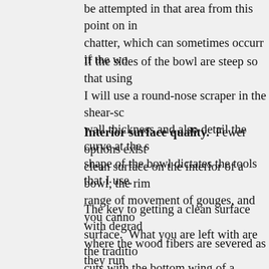be attempted in that area from this point on in chatter, which can sometimes occurr if the wo
If the sides of the bowl are steep so that using I will use a round-nose scraper in the shear-sc wall thickness and also detail the curve at the s shape of the bowl dictates the tools that I use.
Interior surface quality. Fewer options exist clean surface on the interior of a bowl; the rim range of movement of gouges, and you canno surface. What you are left with are the traditio cuts with the bottom wing of a gouge, and she
The key to getting a clean surface with degrad where the wood fibers are severed as they run shearing effect is increased by presenting a go both with the traditional cut and bottom-wing p the rim often limits the range of movement so t achieved.